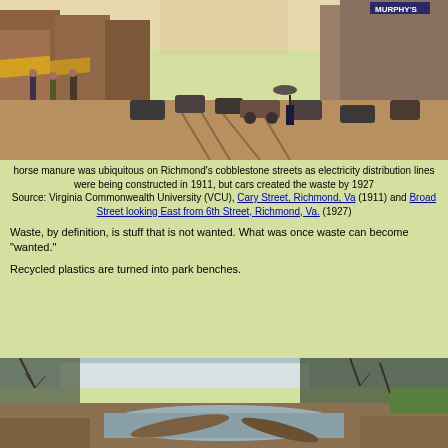[Figure (photo): Historic colorized photograph of a busy cobblestone street in Richmond, Virginia, showing horse-drawn carriages and early automobiles, storefronts including Murphy's sign, and pedestrians, circa 1911/1927]
horse manure was ubiquitous on Richmond’s cobblestone streets as electricity distribution lines were being constructed in 1911, but cars created the waste by 1927
Source: Virginia Commonwealth University (VCU), Cary Street, Richmond, Va (1911) and Broad Street looking East from 6th Street, Richmond, Va. (1927)
Waste, by definition, is stuff that is not wanted. What was once waste can become "wanted."
Recycled plastics are turned into park benches.
[Figure (photo): Photograph of a natural stream or creek with muddy banks, fallen logs, bare trees, and some snow or ice visible in the background]